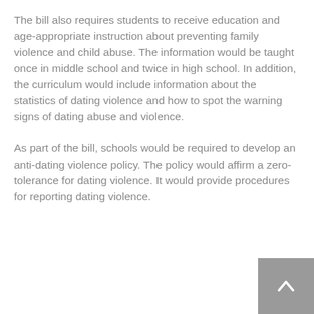The bill also requires students to receive education and age-appropriate instruction about preventing family violence and child abuse. The information would be taught once in middle school and twice in high school. In addition, the curriculum would include information about the statistics of dating violence and how to spot the warning signs of dating abuse and violence.
As part of the bill, schools would be required to develop an anti-dating violence policy. The policy would affirm a zero-tolerance for dating violence. It would provide procedures for reporting dating violence.